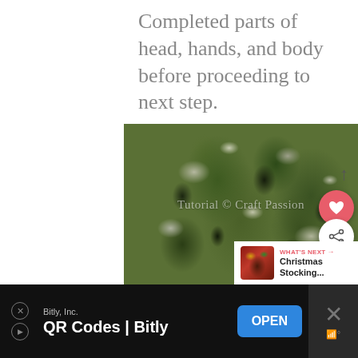Completed parts of head, hands, and body before proceeding to next step.
[Figure (photo): Photograph of completed camouflage fabric doll parts (head, hands, and body) laid out on a white wooden surface. Parts are sewn from green camouflage sock/fabric material. A watermark reads 'Tutorial © Craft Passion'. UI overlay elements include a heart button, share button, and a 'What's Next' panel showing Christmas Stocking.]
WHAT'S NEXT → Christmas Stocking...
Bitly, Inc.
QR Codes | Bitly